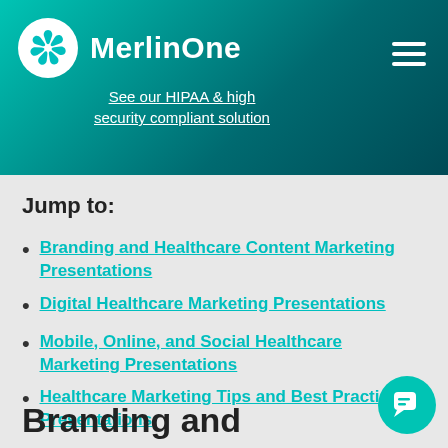MerlinOne — See our HIPAA & high security compliant solution
Jump to:
Branding and Healthcare Content Marketing Presentations
Digital Healthcare Marketing Presentations
Mobile, Online, and Social Healthcare Marketing Presentations
Healthcare Marketing Tips and Best Practices Presentations
Branding and